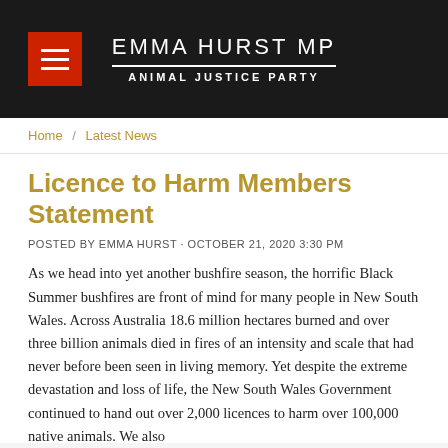EMMA HURST MP / ANIMAL JUSTICE PARTY
Home / Latest News
Licence to Harm Members Statement
POSTED BY EMMA HURST · OCTOBER 21, 2020 3:30 PM
As we head into yet another bushfire season, the horrific Black Summer bushfires are front of mind for many people in New South Wales. Across Australia 18.6 million hectares burned and over three billion animals died in fires of an intensity and scale that had never before been seen in living memory. Yet despite the extreme devastation and loss of life, the New South Wales Government continued to hand out over 2,000 licences to harm over 100,000 native animals. We also